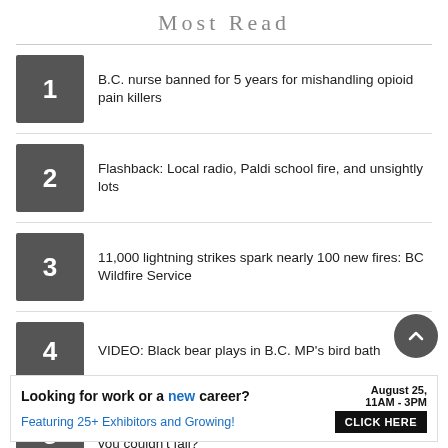Most Read
1. B.C. nurse banned for 5 years for mishandling opioid pain killers
2. Flashback: Local radio, Paldi school fire, and unsightly lots
3. 11,000 lightning strikes spark nearly 100 new fires: BC Wildfire Service
4. VIDEO: Black bear plays in B.C. MP’s bird bath
5. Chris Wilkinson column: What would you do if you knew you couldn’t fail?
[Figure (other): Partial advertisement banner image with colorful elements on a beige background]
Looking for work or a new career? August 25, 11AM - 3PM Featuring 25+ Exhibitors and Growing! CLICK HERE